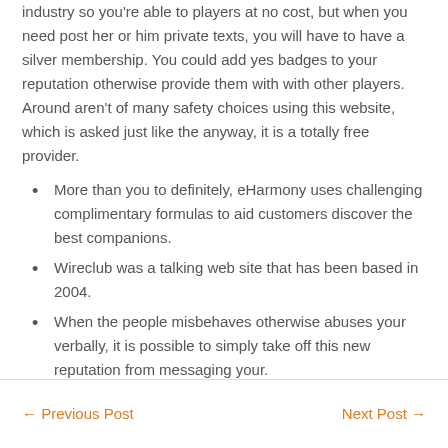industry so you're able to players at no cost, but when you need post her or him private texts, you will have to have a silver membership. You could add yes badges to your reputation otherwise provide them with with other players. Around aren't of many safety choices using this website, which is asked just like the anyway, it is a totally free provider.
More than you to definitely, eHarmony uses challenging complimentary formulas to aid customers discover the best companions.
Wireclub was a talking web site that has been based in 2004.
When the people misbehaves otherwise abuses your verbally, it is possible to simply take off this new reputation from messaging your.
Easy experience on this website on line obtained big.
← Previous Post    Next Post →